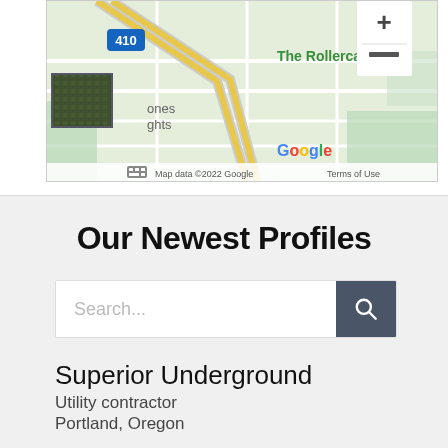[Figure (map): Google Maps screenshot showing area near The Rollercade in Portland, OR, with highway 410 visible, a green location pin, zoom controls (+/-), and attribution 'Map data ©2022 Google Terms of Use']
Our Newest Profiles
Search...
Superior Underground
Utility contractor
Portland, Oregon